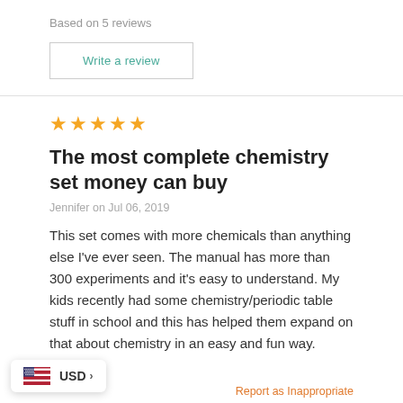Based on 5 reviews
Write a review
[Figure (other): Five gold star rating icons]
The most complete chemistry set money can buy
Jennifer on Jul 06, 2019
This set comes with more chemicals than anything else I've ever seen. The manual has more than 300 experiments and it's easy to understand. My kids recently had some chemistry/periodic table stuff in school and this has helped them expand on that about chemistry in an easy and fun way.
USD >
Report as Inappropriate